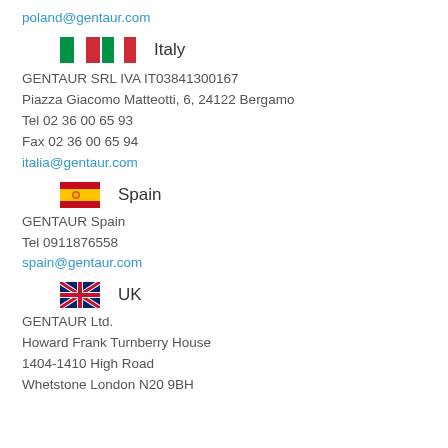poland@gentaur.com
[Figure (illustration): Italian flag icon followed by text 'Italy']
GENTAUR SRL IVA IT03841300167
Piazza Giacomo Matteotti, 6, 24122 Bergamo
Tel 02 36 00 65 93
Fax 02 36 00 65 94
italia@gentaur.com
[Figure (illustration): Spanish flag icon followed by text 'Spain']
GENTAUR Spain
Tel 0911876558
spain@gentaur.com
[Figure (illustration): UK flag icon followed by text 'UK']
GENTAUR Ltd.
Howard Frank Turnberry House
1404-1410 High Road
Whetstone London N20 9BH